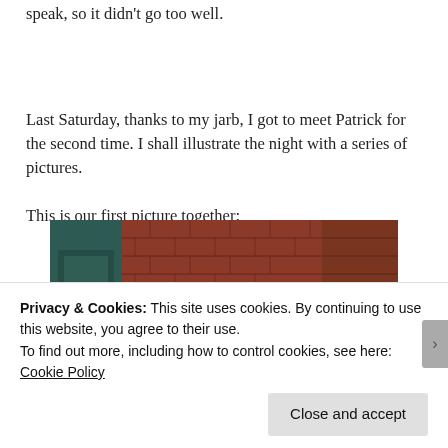speak, so it didn't go too well.
Last Saturday, thanks to my jarb, I got to meet Patrick for the second time. I shall illustrate the night with a series of pictures.
This is our first picture together:
[Figure (photo): Photo of a brick building exterior with a dark green door on the left and a glass door entrance on the right. A black menu/sign board with circular logos and text is visible near the entrance. Text on the right side reads 'EAT' and 'HER' (partially visible).]
Privacy & Cookies: This site uses cookies. By continuing to use this website, you agree to their use.
To find out more, including how to control cookies, see here: Cookie Policy
Close and accept